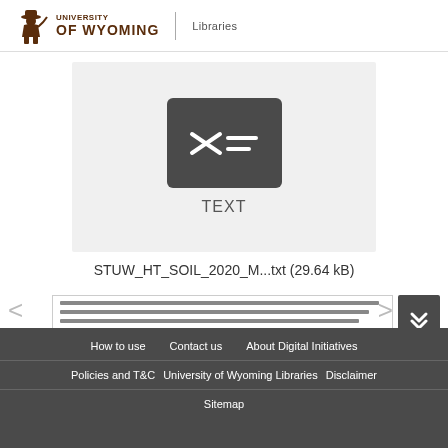University of Wyoming Libraries
[Figure (screenshot): Text file icon — dark rounded rectangle with code/text symbol (<>= lines) on gray background, labeled TEXT below]
STUW_HT_SOIL_2020_M...txt (29.64 kB)
[Figure (screenshot): Thumbnail preview of text file content showing blurred lines of text]
How to use   Contact us   About Digital Initiatives   Policies and T&C   University of Wyoming Libraries   Disclaimer   Sitemap